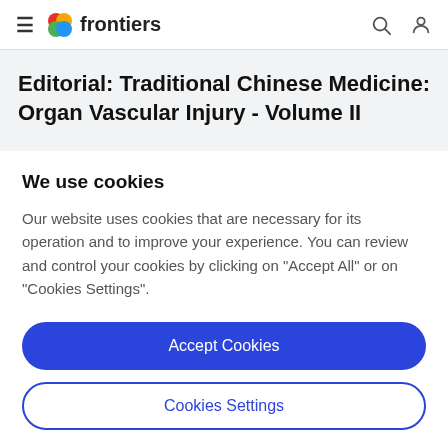frontiers
Editorial: Traditional Chinese Medicine: Organ Vascular Injury - Volume II
We use cookies
Our website uses cookies that are necessary for its operation and to improve your experience. You can review and control your cookies by clicking on "Accept All" or on "Cookies Settings".
Accept Cookies
Cookies Settings